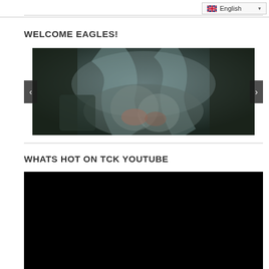English
WELCOME EAGLES!
[Figure (photo): Slideshow image showing a person in gray/blue fabric clothing with hands visible, dark moody photography style, with previous/next navigation arrows]
WHATS HOT ON TCK YOUTUBE
[Figure (screenshot): Black embedded YouTube video player]